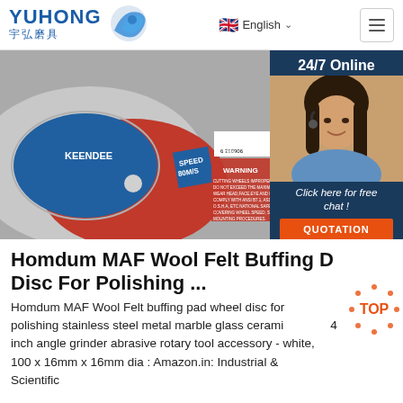YUHONG 宇弘磨具 | English | Menu
[Figure (photo): Close-up of a red and blue KEENDEE abrasive cutting disc with WARNING label and barcode, and a chat agent overlay on the right with '24/7 Online', agent photo, 'Click here for free chat!', and QUOTATION button]
Homdum MAF Wool Felt Buffing Disc For Polishing ...
Homdum MAF Wool Felt buffing pad wheel disc for polishing stainless steel metal marble glass ceramic 4 inch angle grinder abrasive rotary tool accessory - white, 100 x 16mm x 16mm dia : Amazon.in: Industrial & Scientific